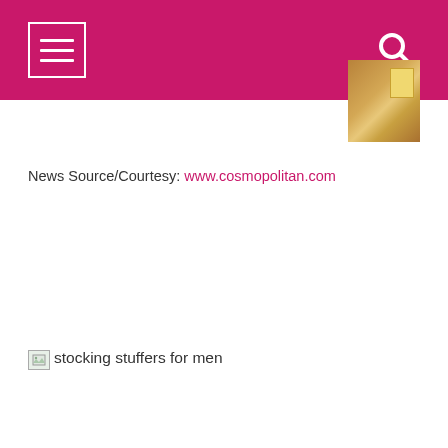News Source/Courtesy: www.cosmopolitan.com
[Figure (photo): Broken image placeholder labeled 'stocking stuffers for men']